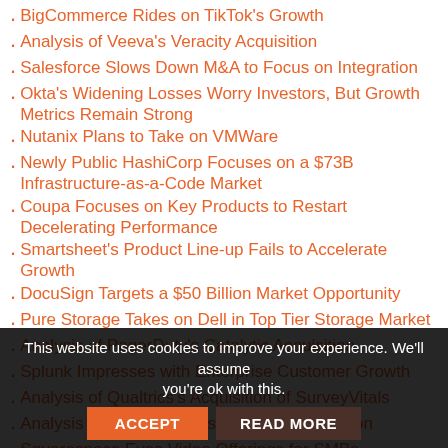BigCommerce Rides on TikTok's Growth
Analysis of Veeva's Veracity Acquisition
Salesforce Slows Down M&A to Focus on Integration
Okta's Widening Losses Worry Investors, But Growth Metrics Remain Strong
Nutanix Plans to Take on VMWare
Newly Public HashiCorp Focuses on a $73B Infrastructure-as-a-Code Market
Coupa Focuses on Key Products to Restart Decelerating Performance
Smartsheet's Product Line-up Fails to Accelerate Growth
DocuSign Targets a $50 Billion Market Opportunity
Pure Storage Takes on Dell in Top Tier Storage Market
Analysis of PagerDuty's Catalytic Acquisition
Splunk Impresses with Enterprise Customer Growth
Analysis of Qualtrics's Acquisition of SurveyVitals
Analysis of DigitalOcean's Nimbella Acquisition
Squarespace Eyes Video Offerings for SMBs
MongoDB is Leveraging Alliance with Amazon for Growth
This website uses cookies to improve your experience. We'll assume you're ok with this.  ACCEPT  READ MORE